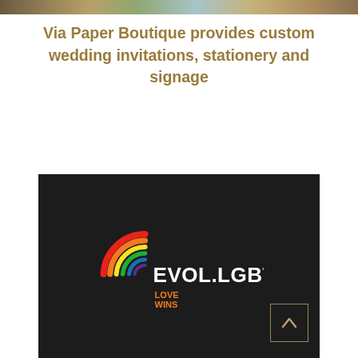[Figure (photo): Top strip image showing wedding-related imagery with warm tones]
Via Paper Boutique provides custom wedding invitations, stationery and signage
[Figure (logo): EVOL.LGBT logo with rainbow arc and 'LOVE WINS' tagline on dark background]